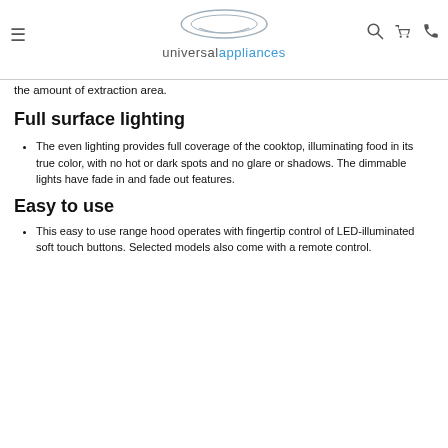universal appliances
the amount of extraction area.
Full surface lighting
The even lighting provides full coverage of the cooktop, illuminating food in its true color, with no hot or dark spots and no glare or shadows. The dimmable lights have fade in and fade out features.
Easy to use
This easy to use range hood operates with fingertip control of LED-illuminated soft touch buttons. Selected models also come with a remote control.